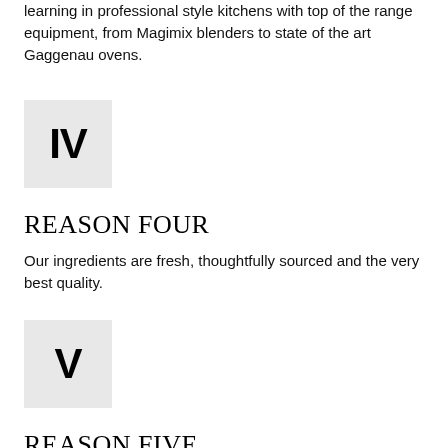learning in professional style kitchens with top of the range equipment, from Magimix blenders to state of the art Gaggenau ovens.
[Figure (other): Grey square box containing bold Roman numeral IV]
REASON FOUR
Our ingredients are fresh, thoughtfully sourced and the very best quality.
[Figure (other): Grey square box containing bold Roman numeral V]
REASON FIVE